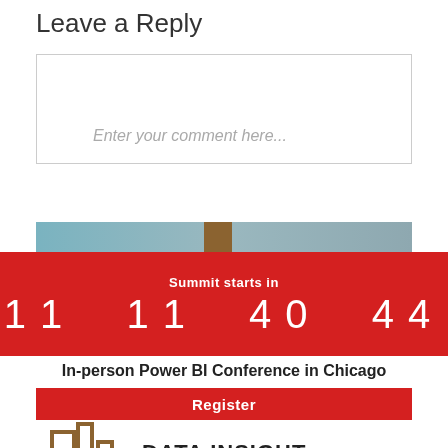Leave a Reply
Enter your comment here...
[Figure (infographic): Red countdown banner showing 'Summit starts in 11 11 40 44' on a red background]
In-person Power BI Conference in Chicago
Register
[Figure (logo): Data Insight Summit logo with golden bar chart icon and bold text 'DATA INSIGHT SUMMIT']